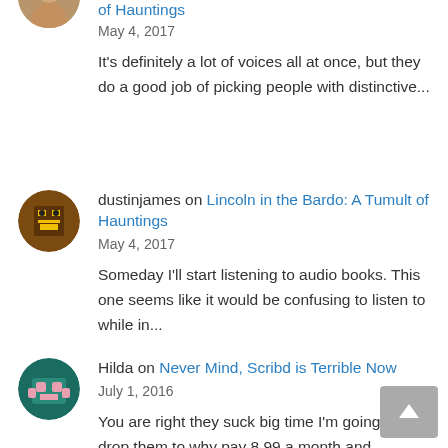[Figure (photo): Partial avatar circle visible at top left]
of Hauntings
May 4, 2017
It's definitely a lot of voices all at once, but they do a good job of picking people with distinctive...
[Figure (illustration): Pixel art avatar of a robot/character in brown and yellow tones]
dustinjames on Lincoln in the Bardo: A Tumult of Hauntings
May 4, 2017
Someday I'll start listening to audio books. This one seems like it would be confusing to listen to while in...
[Figure (illustration): Pixel art avatar of a character with pink/teal tones]
Hilda on Never Mind, Scribd is Terrible Now
July 1, 2016
You are right they suck big time I'm going to drop them to why pay 8.99 a month and